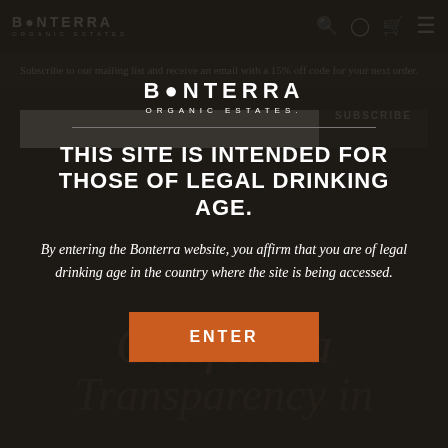[Figure (logo): Bonterra Organic Estates logo in top navigation bar]
Subscribe to our mailing list and receive an email with a 15% off code for your next order.
[Figure (logo): Bonterra Organic Estates logo centered in modal overlay]
THIS SITE IS INTENDED FOR THOSE OF LEGAL DRINKING AGE.
By entering the Bonterra website, you affirm that you are of legal drinking age in the country where the site is being accessed.
ENTER
California
Transparency in